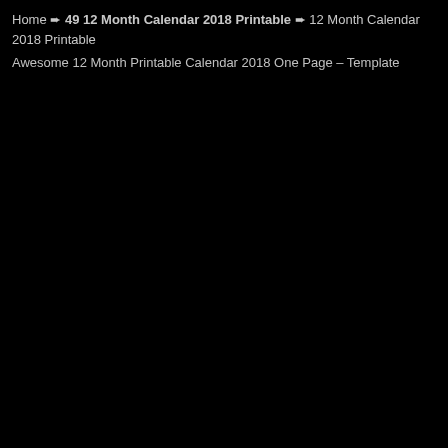Home ➨ 49 12 Month Calendar 2018 Printable ➨ 12 Month Calendar 2018 Printable
Awesome 12 Month Printable Calendar 2018 One Page – Template